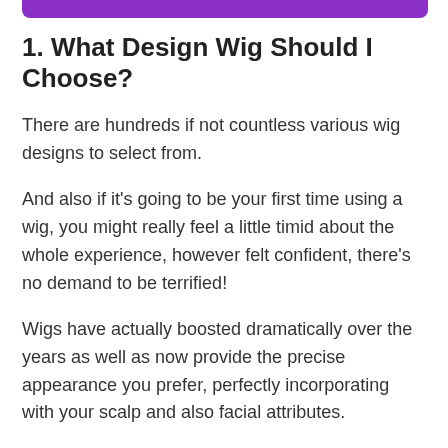1. What Design Wig Should I Choose?
There are hundreds if not countless various wig designs to select from.
And also if it's going to be your first time using a wig, you might really feel a little timid about the whole experience, however felt confident, there's no demand to be terrified!
Wigs have actually boosted dramatically over the years as well as now provide the precise appearance you prefer, perfectly incorporating with your scalp and also facial attributes.